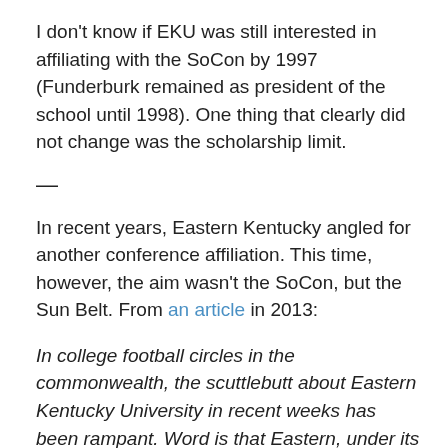I don't know if EKU was still interested in affiliating with the SoCon by 1997 (Funderburk remained as president of the school until 1998). One thing that clearly did not change was the scholarship limit.
—
In recent years, Eastern Kentucky angled for another conference affiliation. This time, however, the aim wasn't the SoCon, but the Sun Belt. From an article in 2013:
In college football circles in the commonwealth, the scuttlebutt about Eastern Kentucky University in recent weeks has been rampant. Word is that Eastern, under its new president, Michael T. Benson, is considering moving its football program into the Football Bowl Sub-Division.
The rumors are true.